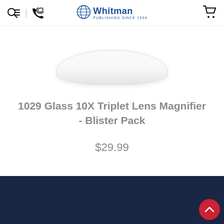Whitman Publishing Since 1934 — site navigation header with search, phone, logo, and cart icons
[Figure (photo): Partial product image of a magnifier at the top of the page, showing a rounded white/light grey lens shape against white background]
1029 Glass 10X Triplet Lens Magnifier - Blister Pack
$29.99
Dark navy footer bar with scroll-to-top red button